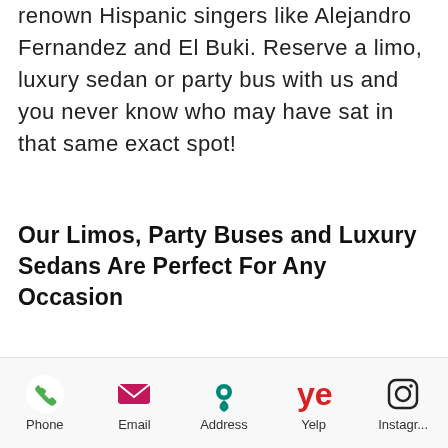renown Hispanic singers like Alejandro Fernandez and El Buki. Reserve a limo, luxury sedan or party bus with us and you never know who may have sat in that same exact spot!
Our Limos, Party Buses and Luxury Sedans Are Perfect For Any Occasion
Our party buses, limos and luxury sedans are perfect for weddings, prom, birthday celebrations, bachelorette parties, bachelor parties, corporate events or simply
Phone  Email  Address  Yelp  Instagr...